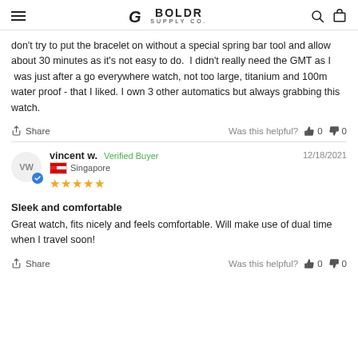BOLDR SUPPLY CO.
don't try to put the bracelet on without a special spring bar tool and allow about 30 minutes as it's not easy to do.  I didn't really need the GMT as I  was just after a go everywhere watch, not too large, titanium and 100m water proof - that I liked. I own 3 other automatics but always grabbing this watch.
Share    Was this helpful?  👍 0  👎 0
vincent w.  Verified Buyer    12/18/2021
Singapore
★★★★★
Sleek and comfortable
Great watch, fits nicely and feels comfortable. Will make use of dual time when I travel soon!
Share    Was this helpful?  👍 0  👎 0